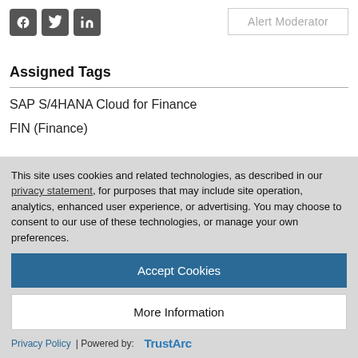[Figure (other): Social media icons: Facebook, Twitter, LinkedIn]
Alert Moderator
Assigned Tags
SAP S/4HANA Cloud for Finance
FIN (Finance)
This site uses cookies and related technologies, as described in our privacy statement, for purposes that may include site operation, analytics, enhanced user experience, or advertising. You may choose to consent to our use of these technologies, or manage your own preferences.
Accept Cookies
More Information
Privacy Policy | Powered by: TrustArc